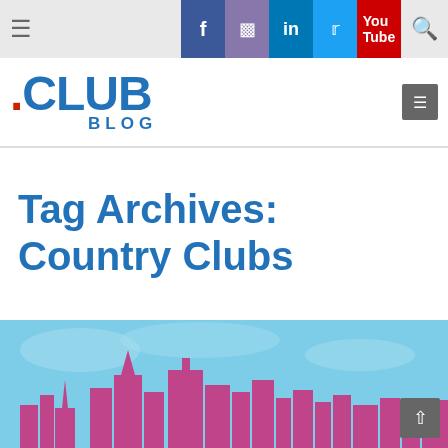≡ [social icons: facebook, instagram, linkedin, twitter, youtube] 🔍
[Figure (logo): .CLUB BLOG logo in blue with red dot, menu button on right]
Tag Archives: Country Clubs
[Figure (illustration): Cityscape silhouette in pink/magenta against a light blue sky background, bottom of page]